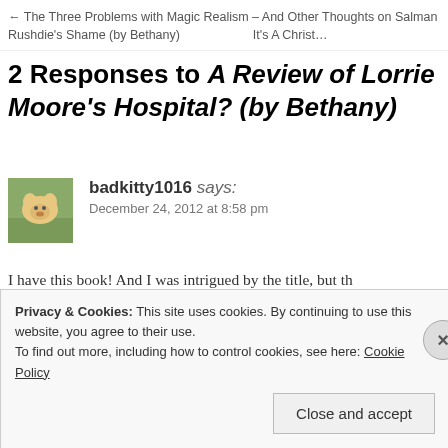← The Three Problems with Magic Realism – And Other Thoughts on Salman Rushdie's Shame (by Bethany)    It's A Christ…
2 Responses to A Review of Lorrie Moore's Hospital? (by Bethany)
badkitty1016 says:
December 24, 2012 at 8:58 pm
I have this book! And I was intrigued by the title, but th… to me. The comparisons to The Great Gatsby and the id… able to write an authentic first person voice were really… have split myself in two and had one half go to vet scho… English … something … I want … had … talk
Privacy & Cookies: This site uses cookies. By continuing to use this website, you agree to their use.
To find out more, including how to control cookies, see here: Cookie Policy